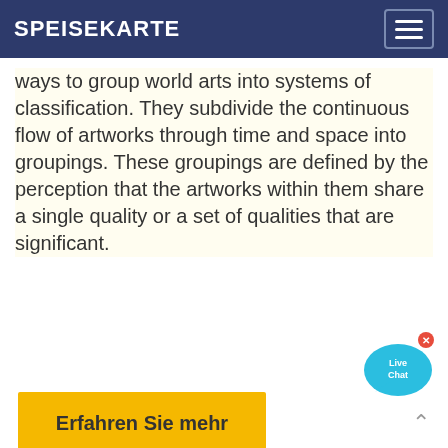SPEISEKARTE
ways to group world arts into systems of classification. They subdivide the continuous flow of artworks through time and space into groupings. These groupings are defined by the perception that the artworks within them share a single quality or a set of qualities that are significant.
[Figure (illustration): Live Chat speech bubble widget with blue chat bubble graphic and 'Live Chat' text, with an X close button]
Erfahren Sie mehr